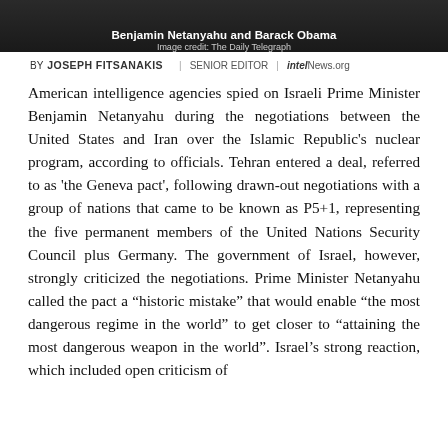[Figure (photo): Photo of Benjamin Netanyahu and Barack Obama with dark background, partially visible at top of page]
Benjamin Netanyahu and Barack Obama
Image credit: The Daily Telegraph
BY JOSEPH FITSANAKIS | SENIOR EDITOR | intelNews.org
American intelligence agencies spied on Israeli Prime Minister Benjamin Netanyahu during the negotiations between the United States and Iran over the Islamic Republic's nuclear program, according to officials. Tehran entered a deal, referred to as 'the Geneva pact', following drawn-out negotiations with a group of nations that came to be known as P5+1, representing the five permanent members of the United Nations Security Council plus Germany. The government of Israel, however, strongly criticized the negotiations. Prime Minister Netanyahu called the pact a “historic mistake” that would enable “the most dangerous regime in the world” to get closer to “attaining the most dangerous weapon in the world”. Israel’s strong reaction, which included open criticism of